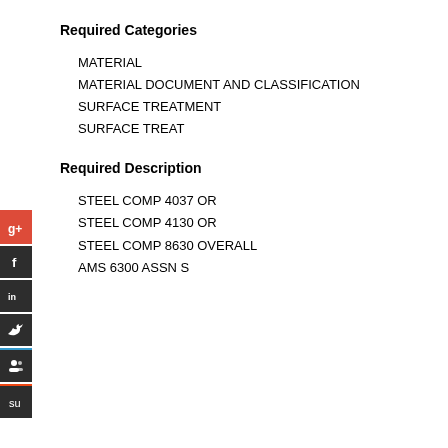Required Categories
MATERIAL
MATERIAL DOCUMENT AND CLASSIFICATION
SURFACE TREATMENT
SURFACE TREAT
Required Description
STEEL COMP 4037 OR
STEEL COMP 4130 OR
STEEL COMP 8630 OVERALL
AMS 6300 ASSN S